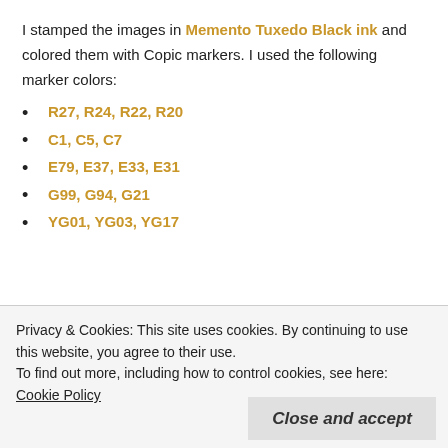I stamped the images in Memento Tuxedo Black ink and colored them with Copic markers. I used the following marker colors:
R27, R24, R22, R20
C1, C5, C7
E79, E37, E33, E31
G99, G94, G21
YG01, YG03, YG17
[Figure (photo): Two partial photos of craft/art supplies laid out on a table, partially obscured by a cookie consent banner.]
Privacy & Cookies: This site uses cookies. By continuing to use this website, you agree to their use.
To find out more, including how to control cookies, see here: Cookie Policy
Close and accept
I used opaque pens to color the Christmas lights on one of